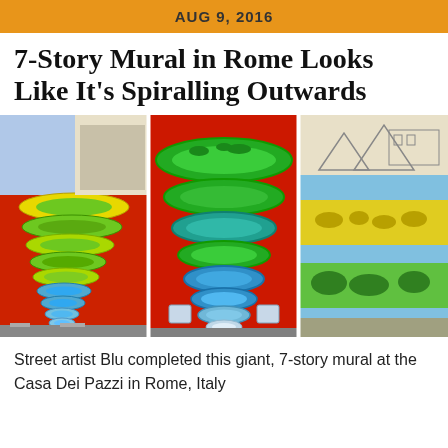AUG 9, 2016
7-Story Mural in Rome Looks Like It's Spiralling Outwards
[Figure (photo): Three side-by-side photographs of the 7-story spiral mural by street artist Blu at the Casa Dei Pazzi in Rome, Italy, showing yellow-green spiral layers with animals against red and blue backgrounds]
Street artist Blu completed this giant, 7-story mural at the Casa Dei Pazzi in Rome, Italy